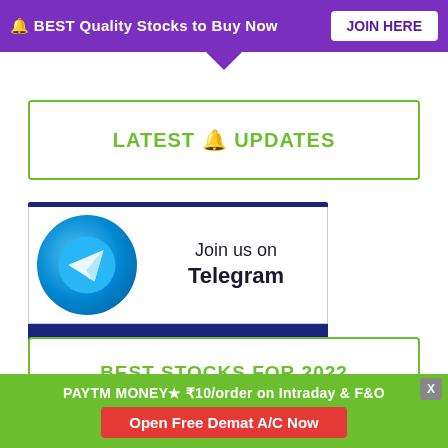🔔 BEST Quality Stocks to Buy Now   JOIN HERE
LATEST 🔔 UPDATES
[Figure (illustration): Telegram channel promotion banner showing 'Join us on Telegram' with a Telegram logo circle and handle @InvestorAcademy23 on dark blue background]
BEST STOCKS FOR 2022
PAYTM MONEY★ ₹10/order on Intraday & F&O   Open Free Demat A/C Now